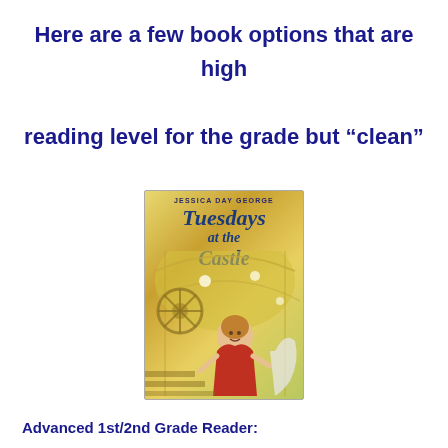Here are a few book options that are high reading level for the grade but “clean” content.
[Figure (illustration): Book cover of 'Tuesdays at the Castle' by Jessica Day George, showing a girl in a medieval castle setting with fantasy elements, yellow/golden tones]
Advanced 1st/2nd Grade Reader: